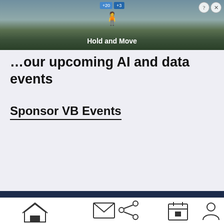[Figure (screenshot): Advertisement banner showing a mobile game 'Hold and Move' with figures on a winter outdoor background, with close/info buttons in top right corner]
…our upcoming AI and data events
Sponsor VB Events
[Figure (logo): VentureBeats VB logo in white and red on dark navy background]
[Figure (infographic): Social media icons row: Facebook (f), Twitter bird, LinkedIn (in), RSS feed icon on dark navy background]
VB Lab    Briefings    Events
Home | Share | Mail | Calendar | Profile navigation icons